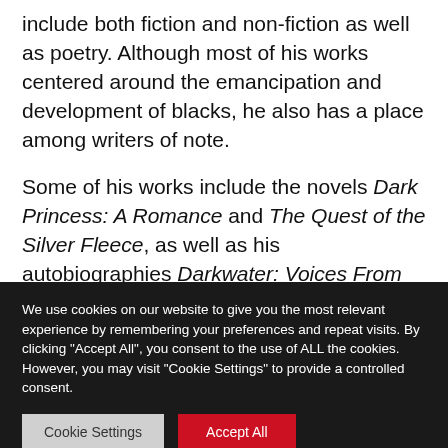include both fiction and non-fiction as well as poetry. Although most of his works centered around the emancipation and development of blacks, he also has a place among writers of note.
Some of his works include the novels Dark Princess: A Romance and The Quest of the Silver Fleece, as well as his autobiographies Darkwater: Voices From Within the Veil and Dusk of Dawn: An Essay Toward
We use cookies on our website to give you the most relevant experience by remembering your preferences and repeat visits. By clicking "Accept All", you consent to the use of ALL the cookies. However, you may visit "Cookie Settings" to provide a controlled consent.